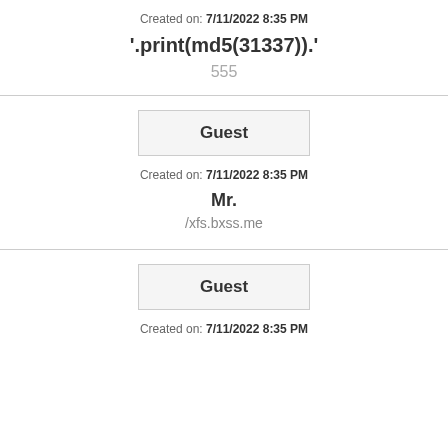Created on: 7/11/2022 8:35 PM
'.print(md5(31337)).'
555
Guest
Created on: 7/11/2022 8:35 PM
Mr.
/xfs.bxss.me
Guest
Created on: 7/11/2022 8:35 PM